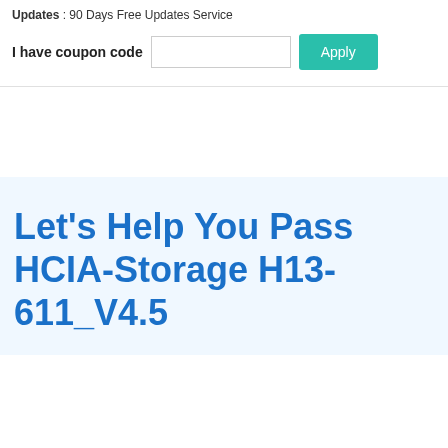Updates : 90 Days Free Updates Service
I have coupon code
Let's Help You Pass HCIA-Storage H13-611_V4.5